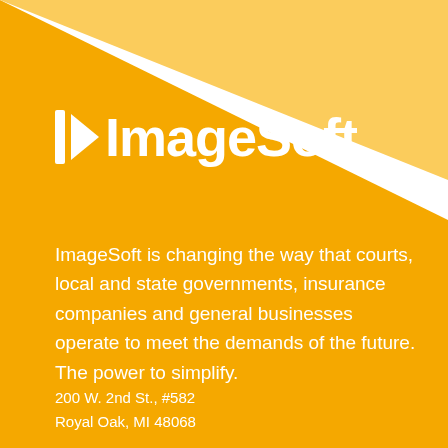[Figure (logo): ImageSoft logo with arrow/play icon and company name in white on orange background]
ImageSoft is changing the way that courts, local and state governments, insurance companies and general businesses operate to meet the demands of the future. The power to simplify.
200 W. 2nd St., #582
Royal Oak, MI 48068